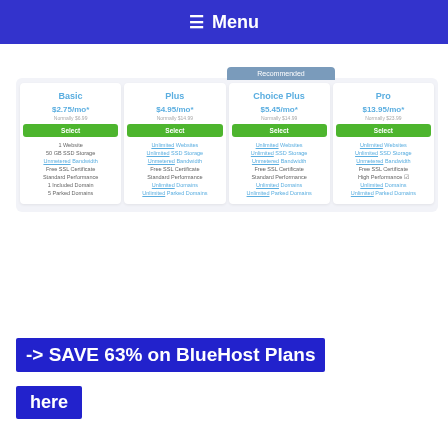≡ Menu
| Basic | Plus | Choice Plus | Pro |
| --- | --- | --- | --- |
| $2.75/mo* | $4.95/mo* | $5.45/mo* | $13.95/mo* |
| Normally $6.99 | Normally $14.99 | Normally $14.99 | Normally $23.99 |
| Select | Select | Select | Select |
| 1 Website | Unlimited Websites | Unlimited Websites | Unlimited Websites |
| 50 GB SSD Storage | Unlimited SSD Storage | Unlimited SSD Storage | Unlimited SSD Storage |
| Unmetered Bandwidth | Unmetered Bandwidth | Unmetered Bandwidth | Unmetered Bandwidth |
| Free SSL Certificate | Free SSL Certificate | Free SSL Certificate | Free SSL Certificate |
| Standard Performance | Standard Performance | Standard Performance | High Performance ☑ |
| 1 Included Domain | Unlimited Domains | Unlimited Domains | Unlimited Domains |
| 5 Parked Domains | Unlimited Parked Domains | Unlimited Parked Domains | Unlimited Parked Domains |
-> SAVE 63% on BlueHost Plans
here